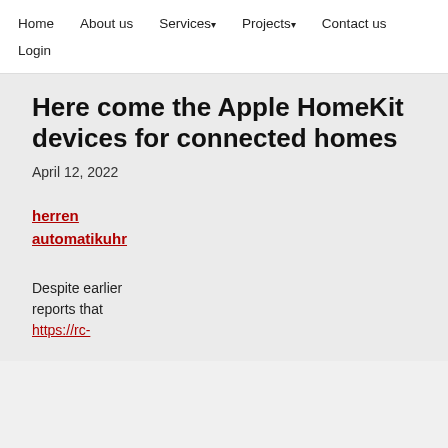Home   About us   Services ▾   Projects ▾   Contact us
Login
Here come the Apple HomeKit devices for connected homes
April 12, 2022
herren automatikuhr
Despite earlier reports that https://rc-